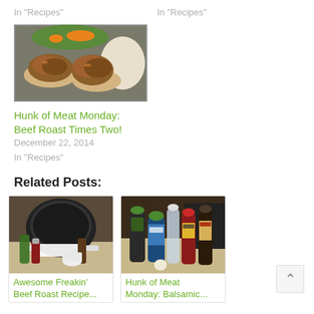In "Recipes"
In "Recipes"
[Figure (photo): Photo of beef roast meal on plate with rice and vegetables]
Hunk of Meat Monday: Beef Roast Times Two!
December 22, 2014
In "Recipes"
Related Posts:
[Figure (photo): Photo of slow cooker with spice bottles and ingredients]
Awesome Freakin' Beef Roast Recipe...
[Figure (photo): Photo of condiment bottles and ingredients on counter]
Hunk of Meat Monday: Balsamic...